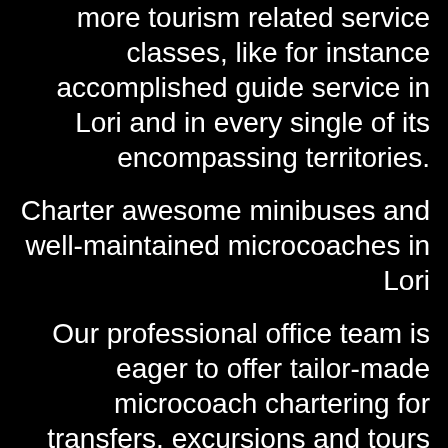more tourism related service classes, like for instance accomplished guide service in Lori and in every single of its encompassing territories.
Charter awesome minibuses and well-maintained microcoaches in Lori
Our professional office team is eager to offer tailor-made microcoach chartering for transfers, excursions and tours from Tashir to